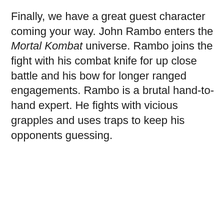Finally, we have a great guest character coming your way. John Rambo enters the Mortal Kombat universe. Rambo joins the fight with his combat knife for up close battle and his bow for longer ranged engagements. Rambo is a brutal hand-to-hand expert. He fights with vicious grapples and uses traps to keep his opponents guessing.